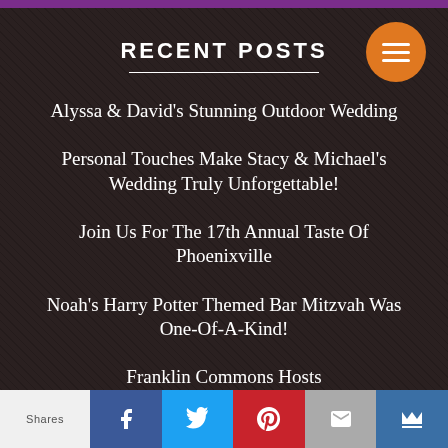RECENT POSTS
Alyssa & David's Stunning Outdoor Wedding
Personal Touches Make Stacy & Michael's Wedding Truly Unforgettable!
Join Us For The 17th Annual Taste Of Phoenixville
Noah's Harry Potter Themed Bar Mitzvah Was One-Of-A-Kind!
Franklin Commons Hosts
Shares